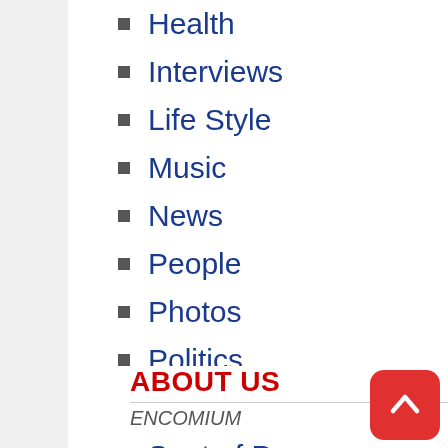Health
Interviews
Life Style
Music
News
People
Photos
Politics
Science
Seat of Power
Style
Uncategorized
Videos
What's Trending
ABOUT US
ENCOMIUM